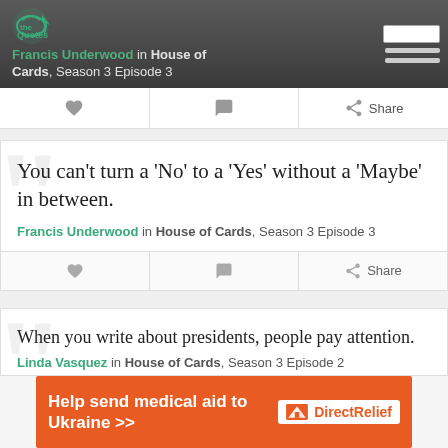Francis Underwood in House of Cards, Season 3 Episode 3
You can't turn a 'No' to a 'Yes' without a 'Maybe' in between.
Francis Underwood in House of Cards, Season 3 Episode 3
When you write about presidents, people pay attention.
Linda Vasquez in House of Cards, Season 3 Episode 2
[Figure (other): Advertisement banner: Help send medical aid to Ukraine - Direct Relief]